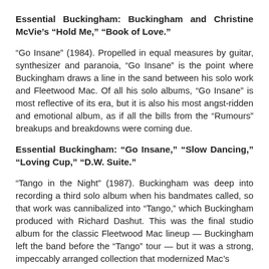Essential Buckingham: Buckingham and Christine McVie's “Hold Me,” “Book of Love.”
“Go Insane” (1984). Propelled in equal measures by guitar, synthesizer and paranoia, “Go Insane” is the point where Buckingham draws a line in the sand between his solo work and Fleetwood Mac. Of all his solo albums, “Go Insane” is most reflective of its era, but it is also his most angst-ridden and emotional album, as if all the bills from the “Rumours” breakups and breakdowns were coming due.
Essential Buckingham: “Go Insane,” “Slow Dancing,” “Loving Cup,” “D.W. Suite.”
“Tango in the Night” (1987). Buckingham was deep into recording a third solo album when his bandmates called, so that work was cannibalized into “Tango,” which Buckingham produced with Richard Dashut. This was the final studio album for the classic Fleetwood Mac lineup — Buckingham left the band before the “Tango” tour — but it was a strong, impeccably arranged collection that modernized Mac’s